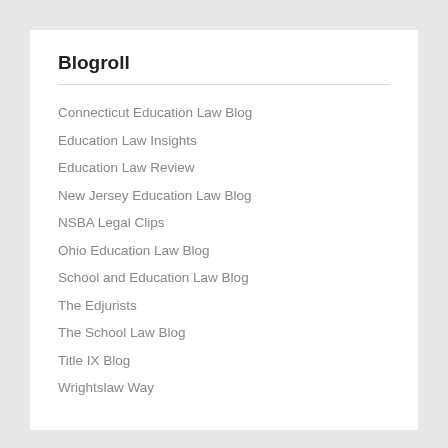Blogroll
Connecticut Education Law Blog
Education Law Insights
Education Law Review
New Jersey Education Law Blog
NSBA Legal Clips
Ohio Education Law Blog
School and Education Law Blog
The Edjurists
The School Law Blog
Title IX Blog
Wrightslaw Way